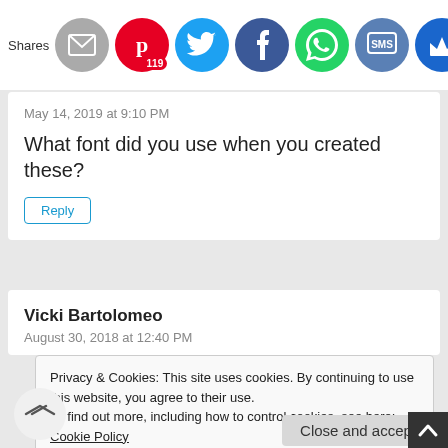[Figure (other): Share bar with social media icons: mail (gray), Pinterest (red, 119 badge), Twitter (blue), Facebook (dark blue), WhatsApp (green), SMS (blue), Crown (blue). Label 'Shares' on left.]
May 14, 2019 at 9:10 PM
What font did you use when you created these?
Reply
Vicki Bartolomeo
August 30, 2018 at 12:40 PM
Privacy & Cookies: This site uses cookies. By continuing to use this website, you agree to their use.
To find out more, including how to control cookies, see here: Cookie Policy
Close and accept